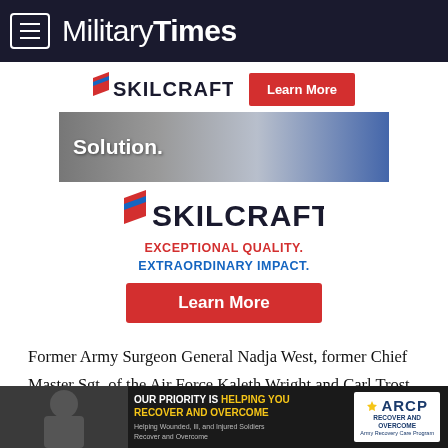MilitaryTimes
[Figure (advertisement): SKILCRAFT advertisement banner with Learn More button and 'Solution.' image]
[Figure (advertisement): SKILCRAFT logo with tagline EXCEPTIONAL QUALITY. EXTRAORDINARY IMPACT. and Learn More button]
Former Army Surgeon General Nadja West, former Chief Master Sgt. of the Air Force Kaleth Wright and Carl Trost, a retired Navy chaplain, will serve as consultants for the board. Kathy
[Figure (advertisement): ARCP Army Recovery Care Program banner: OUR PRIORITY IS HELPING YOU RECOVER AND OVERCOME. Helping Wounded, Ill, and Injured Soldiers Recover and Overcome.]